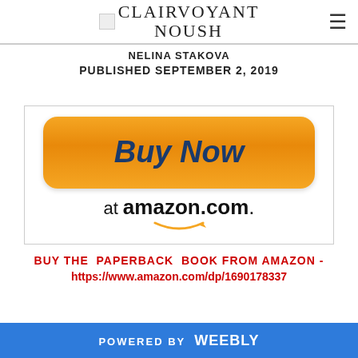CLAIRVOYANT NOUSH
NELINA STAKOVA
PUBLISHED SEPTEMBER 2, 2019
[Figure (other): Buy Now at amazon.com button image with orange Buy Now button and Amazon logo with smile]
BUY THE PAPERBACK BOOK FROM AMAZON - https://www.amazon.com/dp/1690178337
POWERED BY weebly